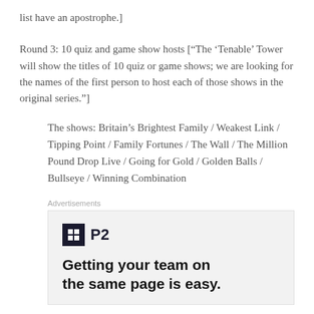list have an apostrophe.]
Round 3: 10 quiz and game show hosts [“The ‘Tenable’ Tower will show the titles of 10 quiz or game shows; we are looking for the names of the first person to host each of those shows in the original series.”]
The shows: Britain’s Brightest Family / Weakest Link / Tipping Point / Family Fortunes / The Wall / The Million Pound Drop Live / Going for Gold / Golden Balls / Bullseye / Winning Combination
Advertisements
[Figure (other): Advertisement for P2 with logo and headline text: Getting your team on the same page is easy.]